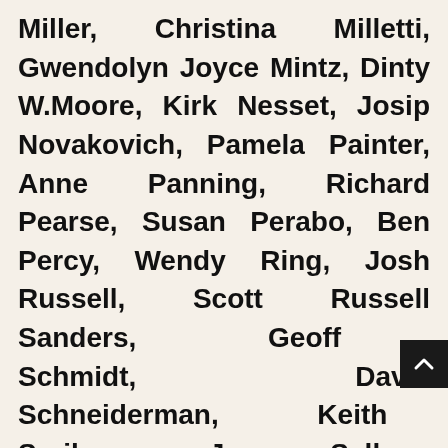Miller, Christina Milletti, Gwendolyn Joyce Mintz, Dinty W.Moore, Kirk Nesset, Josip Novakovich, Pamela Painter, Anne Panning, Richard Pearse, Susan Perabo, Ben Percy, Wendy Ring, Josh Russell, Scott Russell Sanders, Geoff Schmidt, Davis Schneiderman, Keith Scribner, Jeremy Sellers, Tyson Sharbaugh, Steven Sherrill, Barry Silesky, Natalia Rachel Singer, Brent Spencer, Lori Ann Stephens, J. David Stevens, Julie Stotz-Ghosh, Virgil Suarez, Philip Terman, Wayne Thomas, Melanie Rae Thon, Anthony Tognazzini, Pam Ullman, Antonio Vallone, Sharon Wahl, Ron Walla, Michael Waters, Gabriel Welsch, Janet Wondra, Allen Woodman, Angus